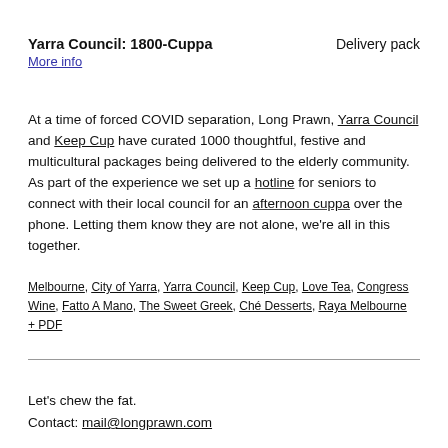Yarra Council: 1800-Cuppa    Delivery pack
More info
At a time of forced COVID separation, Long Prawn, Yarra Council and Keep Cup have curated 1000 thoughtful, festive and multicultural packages being delivered to the elderly community. As part of the experience we set up a hotline for seniors to connect with their local council for an afternoon cuppa over the phone. Letting them know they are not alone, we're all in this together.
Melbourne, City of Yarra, Yarra Council, Keep Cup, Love Tea, Congress Wine, Fatto A Mano, The Sweet Greek, Ché Desserts, Raya Melbourne
+ PDF
Let's chew the fat.
Contact: mail@longprawn.com